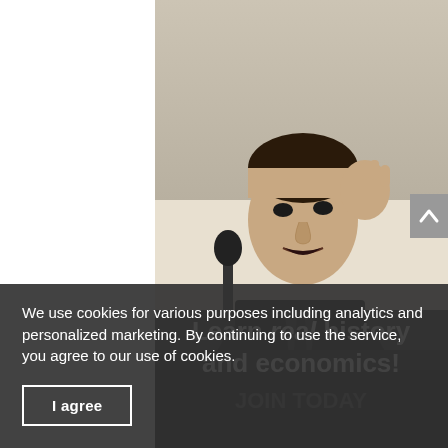[Figure (photo): Black and white photo of a man in a suit speaking at a podium with a microphone, holding his hand up to his ear. Below the photo, large white bold text reads 'Learn real history and economics!' overlaid on the dark lower portion of the image. Partially visible text at the bottom reads 'JOIN TODAY'.]
We use cookies for various purposes including analytics and personalized marketing. By continuing to use the service, you agree to our use of cookies.
I agree